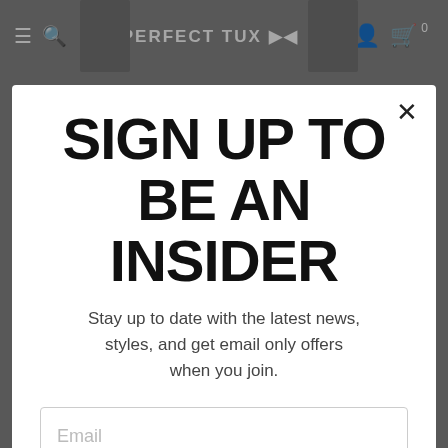PERFECT TUX
SIGN UP TO BE AN INSIDER
Stay up to date with the latest news, styles, and get email only offers when you join.
Email
Sign up